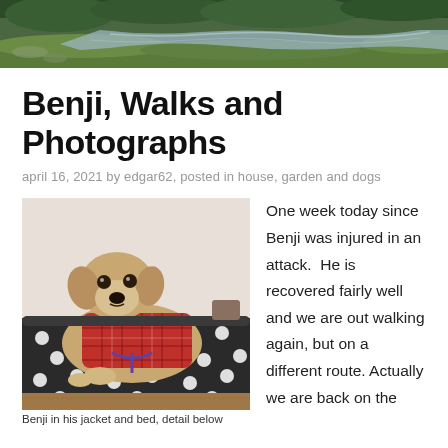[Figure (photo): Header banner photo of a river or stream with green grassy banks and trees in the background]
Benji, Walks and Photographs
april 16, 2021 by edgar62, posted in house, garden and dogs
[Figure (photo): Photo of Benji, a small tan and white dog wearing a red plaid jacket/vest, lying on a black polka-dot dog bed]
Benji in his jacket and bed, detail below
One week today since Benji was injured in an attack.  He is recovered fairly well and we are out walking again, but on a different route. Actually we are back on the